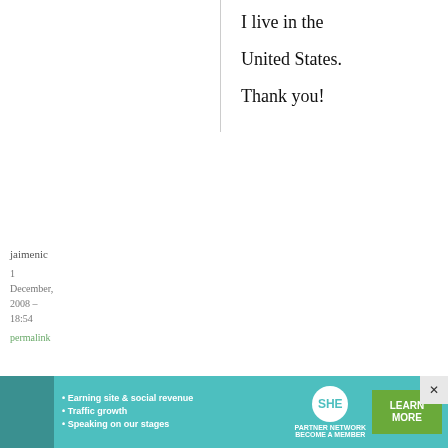I live in the United States. Thank you!
jaimenic
1 December, 2008 - 18:54
permalink
Happy Anni! xoxo jaimenic
Happy Anni!

xoxo

jaimenic from
[Figure (infographic): SHE Partner Network advertisement banner with photo, bullet points, logo, and Learn More button]